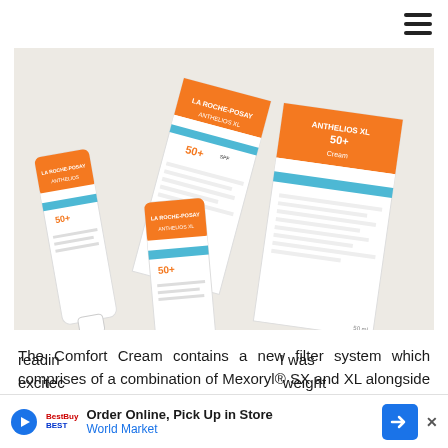[Figure (photo): La Roche-Posay Anthelios XL SPF 50+ Comfort Cream sunscreen products — a tube and a box — photographed on a light background]
The Comfort Cream contains a new filter system which comprises of a combination of Mexoryl® SX and XL alongside Senna Alata extract which naturally protect the skin's cells from damage. After reading ... I was excited ... weight